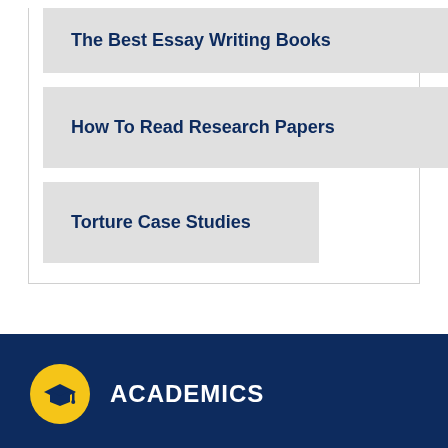The Best Essay Writing Books
How To Read Research Papers
Torture Case Studies
ACADEMICS
Featured Links